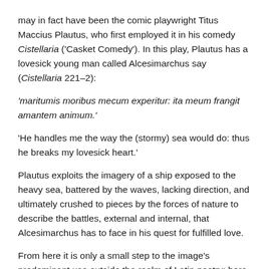may in fact have been the comic playwright Titus Maccius Plautus, who first employed it in his comedy Cistellaria ('Casket Comedy'). In this play, Plautus has a lovesick young man called Alcesimarchus say (Cistellaria 221–2):
'maritumis moribus mecum experitur: ita meum frangit amantem animum.'
'He handles me the way the (stormy) sea would do: thus he breaks my lovesick heart.'
Plautus exploits the imagery of a ship exposed to the heavy sea, battered by the waves, lacking direction, and ultimately crushed to pieces by the forces of nature to describe the battles, external and internal, that Alcesimarchus has to face in his quest for fulfilled love.
From here it is only a small step to the image's predominant use outside the realm of Latin poetry: here, animum frangere is